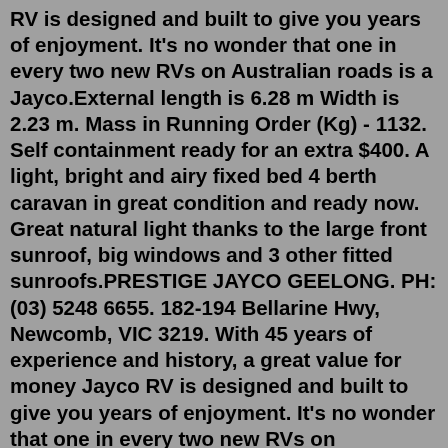RV is designed and built to give you years of enjoyment. It's no wonder that one in every two new RVs on Australian roads is a Jayco.External length is 6.28 m Width is 2.23 m. Mass in Running Order (Kg) - 1132. Self containment ready for an extra $400. A light, bright and airy fixed bed 4 berth caravan in great condition and ready now. Great natural light thanks to the large front sunroof, big windows and 3 other fitted sunroofs.PRESTIGE JAYCO GEELONG. PH: (03) 5248 6655. 182-194 Bellarine Hwy, Newcomb, VIC 3219. With 45 years of experience and history, a great value for money Jayco RV is designed and built to give you years of enjoyment. It's no wonder that one in every two new RVs on Australian roads is a Jayco. Prestige Jayco. Feb 2018 - Present4 years 5 months. Caravan Camping Classifieds has a growing range of caravans, motorhomes and camper trailers for sale, from both dealerships and private sellers, across Australia. We have even given each dealership their dealer store,